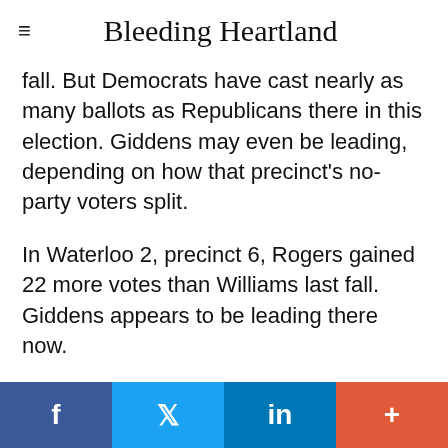Bleeding Heartland
fall. But Democrats have cast nearly as many ballots as Republicans there in this election. Giddens may even be leading, depending on how that precinct's no-party voters split.
In Waterloo 2, precinct 6, Rogers gained 22 more votes than Williams last fall. Giddens appears to be leading there now.
In Cedar Falls 2, precinct 3, where Williams
f  [Twitter bird]  in  +